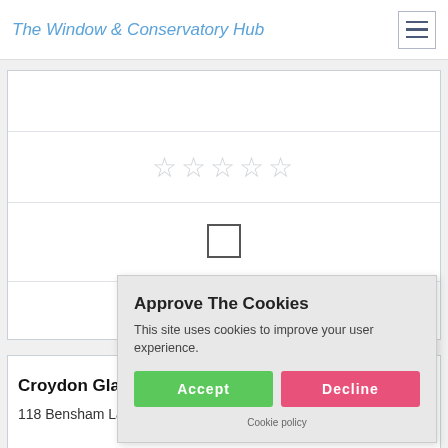The Window & Conservatory Hub
[Figure (screenshot): Form card with star rating row (5 empty stars), checkbox row, and Get a Quote button]
Croydon Glas…
118 Bensham Lane, Thornt…
0.98
[Figure (screenshot): Cookie consent overlay: 'Approve The Cookies' with Accept and Decline buttons and Cookie policy link]